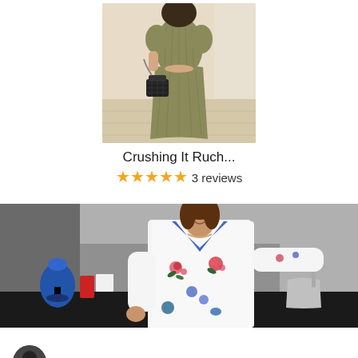[Figure (photo): Person wearing an olive/khaki ruched two-piece outfit (crop top and midi skirt) posing in a hallway, holding a quilted black handbag]
Crushing It Ruch...
★★★★★ 3 reviews
[Figure (photo): Woman wearing a white floral button-down shirt/blouse with blue collar, smiling in a kitchen setting]
Robert D.  Verified Buyer  08/27/2021